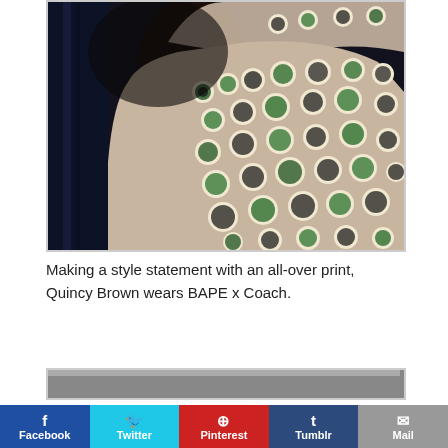[Figure (photo): Person wearing a BAPE x Coach all-over print jacket with ape head pattern in green and black on beige background, with a red top underneath, photographed in a dark indoor setting]
Making a style statement with an all-over print, Quincy Brown wears BAPE x Coach.
[Figure (photo): Partial second image visible at bottom, showing a grey/dark bar]
Facebook | Twitter | Pinterest | Tumblr | Mail